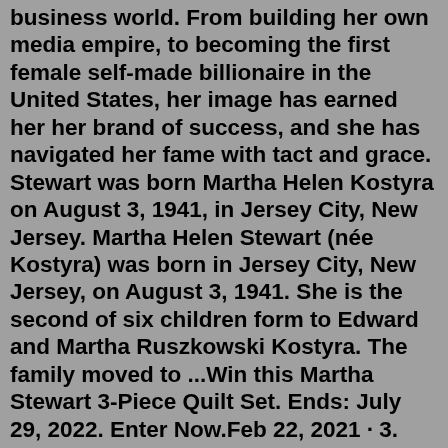business world. From building her own media empire, to becoming the first female self-made billionaire in the United States, her image has earned her her brand of success, and she has navigated her fame with tact and grace. Stewart was born Martha Helen Kostyra on August 3, 1941, in Jersey City, New Jersey. Martha Helen Stewart (née Kostyra) was born in Jersey City, New Jersey, on August 3, 1941. She is the second of six children form to Edward and Martha Ruszkowski Kostyra. The family moved to ...Win this Martha Stewart 3-Piece Quilt Set. Ends: July 29, 2022. Enter Now.Feb 22, 2021 · 3. Martha Stewart died on February 17, 2021, at the age of 98 Credit: Alamy. Stewart's most famous role came as murder victim Mildred Atkinson in In A Lonely Place. She retired from acting in the 1960s, and acted in her final film Surf Party in 1964. In 1946, Stewart married singer-comedian Joe E. Lewis, however divorced two years later. Aug 19, 2022 · Martha Stewart is a dream dinner-party guest. Most of us would love to share a meal with her—especially one